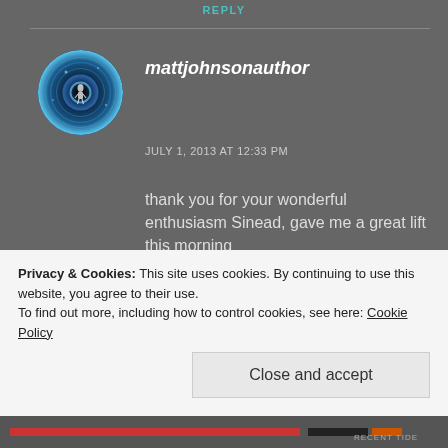REPLY
[Figure (photo): Circular avatar image with dark blue cosmic eye/galaxy design with a silhouette figure in center]
mattjohnsonauthor
JULY 1, 2013 AT 12:33 PM
thank you for your wonderful enthusiasm Sinead, gave me a great lift this morning
Like
REPLY
Privacy & Cookies: This site uses cookies. By continuing to use this website, you agree to their use.
To find out more, including how to control cookies, see here: Cookie Policy
Close and accept